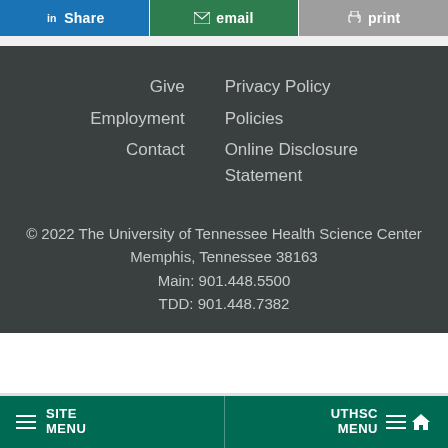Share  email  print
Give
Employment
Contact
Privacy Policy
Policies
Online Disclosure Statement
© 2022 The University of Tennessee Health Science Center
Memphis, Tennessee 38163
Main: 901.448.5500
TDD: 901.448.7382
SITE MENU   UTHSC MENU